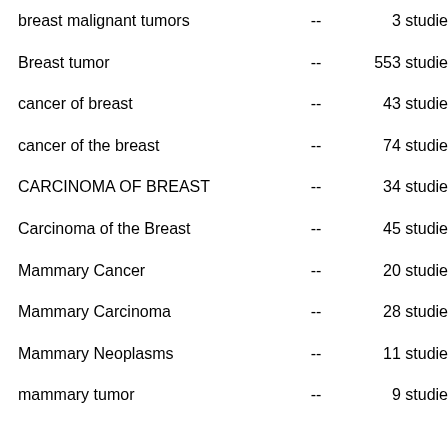| Term |  | Count |
| --- | --- | --- |
| breast malignant tumors | -- | 3 studies |
| Breast tumor | -- | 553 studies |
| cancer of breast | -- | 43 studies |
| cancer of the breast | -- | 74 studies |
| CARCINOMA OF BREAST | -- | 34 studies |
| Carcinoma of the Breast | -- | 45 studies |
| Mammary Cancer | -- | 20 studies |
| Mammary Carcinoma | -- | 28 studies |
| Mammary Neoplasms | -- | 11 studies |
| mammary tumor | -- | 9 studies |